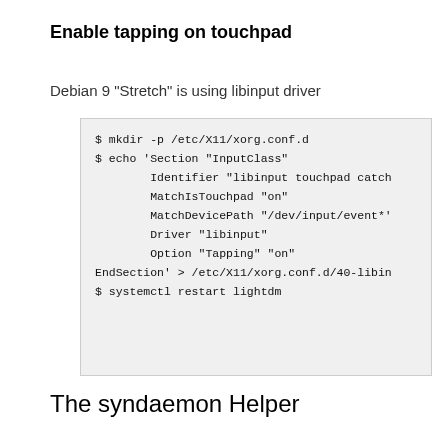Enable tapping on touchpad
Debian 9 "Stretch" is using libinput driver
[Figure (screenshot): Terminal code block showing shell commands to enable touchpad tapping on Debian 9: mkdir, echo with xorg config section, and systemctl restart lightdm]
The syndaemon Helper